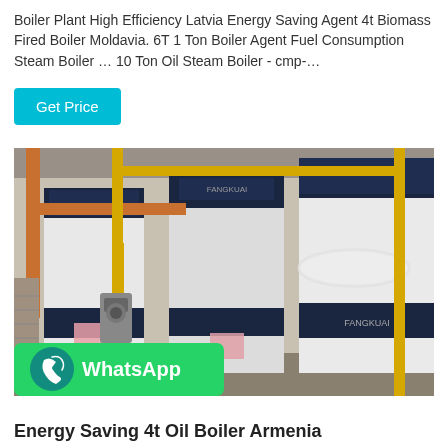Boiler Plant High Efficiency Latvia Energy Saving Agent 4t Biomass Fired Boiler Moldavia. 6T 1 Ton Boiler Agent Fuel Consumption Steam Boiler … 10 Ton Oil Steam Boiler - cmp-…
Get Price
[Figure (photo): Industrial boiler plant interior showing large white and dark blue boilers with yellow and orange pipes running along walls and ceiling]
WhatsApp
Energy Saving 4t Oil Boiler Armenia